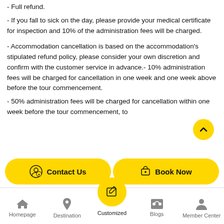- Full refund.
- If you fall to sick on the day, please provide your medical certificate for inspection and 10% of the administration fees will be charged.
- Accommodation cancellation is based on the accommodation's stipulated refund policy, please consider your own discretion and confirm with the customer service in advance.- 10% administration fees will be charged for cancellation in one week and one week above before the tour commencement.
- 50% administration fees will be charged for cancellation within one week before the tour commencement, to
[Figure (screenshot): Mobile app bottom action bar with Contact Us and Book Now buttons, a Customized center tab button, and a navigation tab bar with Homepage, Destination, Customized, Blogs, Member Center tabs.]